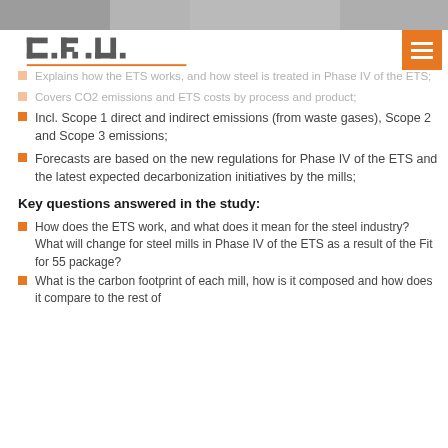[Figure (photo): Partial top image strip of industrial/steel facility in grayscale]
[Figure (logo): CRU-style logo in dark gray with orange/brown elements]
Explains how the ETS works, and how steel is treated in Phase IV of the ETS;
Covers CO2 emissions and ETS costs by process and product;
Incl. Scope 1 direct and indirect emissions (from waste gases), Scope 2 and Scope 3 emissions;
Forecasts are based on the new regulations for Phase IV of the ETS and the latest expected decarbonization initiatives by the mills;
Key questions answered in the study:
How does the ETS work, and what does it mean for the steel industry? What will change for steel mills in Phase IV of the ETS as a result of the Fit for 55 package?
What is the carbon footprint of each mill, how is it composed and how does it compare to the rest of